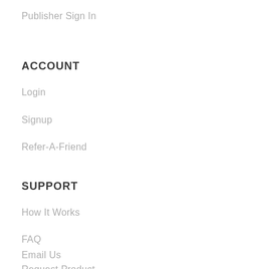Publisher Sign In
ACCOUNT
Login
Signup
Refer-A-Friend
SUPPORT
How It Works
FAQ
Email Us
Request Product